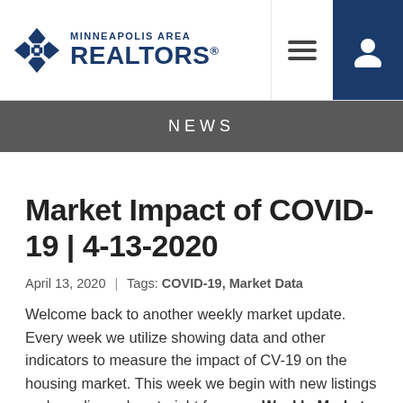[Figure (logo): Minneapolis Area Realtors logo with diamond cross icon and navigation icons]
NEWS
Market Impact of COVID-19 | 4-13-2020
April 13, 2020  |  Tags: COVID-19, Market Data
Welcome back to another weekly market update. Every week we utilize showing data and other indicators to measure the impact of CV-19 on the housing market. This week we begin with new listings and pending sales straight from our Weekly Market Activity